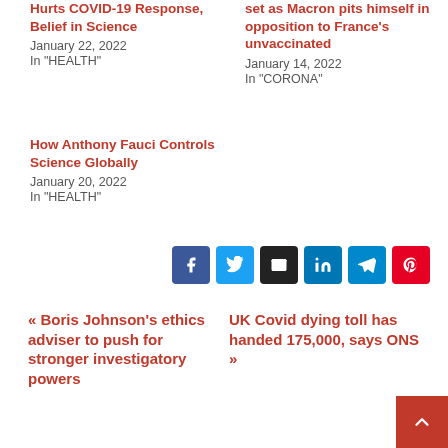Hurts COVID-19 Response, Belief in Science
January 22, 2022
In "HEALTH"
set as Macron pits himself in opposition to France's unvaccinated
January 14, 2022
In "CORONA"
How Anthony Fauci Controls Science Globally
January 20, 2022
In "HEALTH"
[Figure (infographic): Row of 6 social share buttons: Facebook (dark blue), Twitter (blue), Email (black), LinkedIn (blue), Telegram (teal), Pinterest (red)]
« Boris Johnson's ethics adviser to push for stronger investigatory powers
UK Covid dying toll has handed 175,000, says ONS »